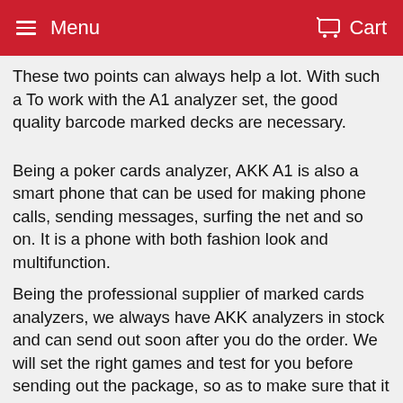Menu   Cart
These two points can always help a lot. With such a To work with the A1 analyzer set, the good quality barcode marked decks are necessary.
Being a poker cards analyzer, AKK A1 is also a smart phone that can be used for making phone calls, sending messages, surfing the net and so on. It is a phone with both fashion look and multifunction.
Being the professional supplier of marked cards analyzers, we always have AKK analyzers in stock and can send out soon after you do the order. We will set the right games and test for you before sending out the package, so as to make sure that it is the right good product for you. Also we can help to fixor change the device if there is quality problems when you get it.